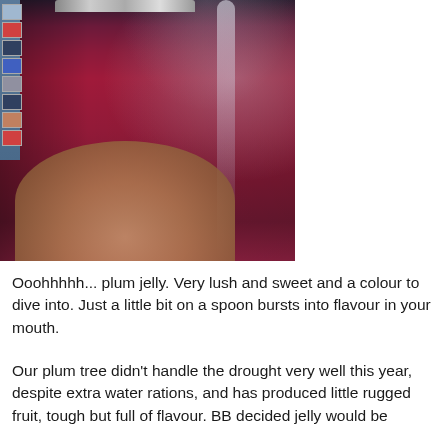[Figure (photo): A hand holding a tall glass jar filled with deep ruby-red plum jelly, against a blurred background showing a photo board on the left and warm beige tones on the right.]
Ooohhhhh... plum jelly. Very lush and sweet and a colour to dive into. Just a little bit on a spoon bursts into flavour in your mouth.
Our plum tree didn't handle the drought very well this year, despite extra water rations, and has produced little rugged fruit, tough but full of flavour. BB decided jelly would be